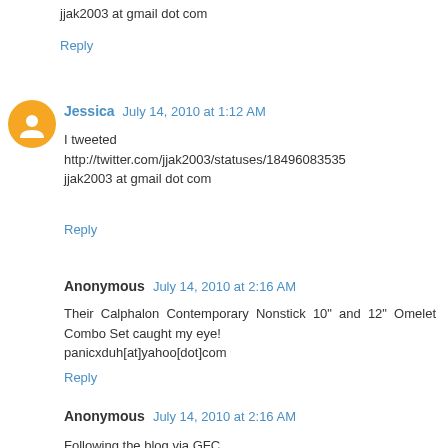jjak2003 at gmail dot com
Reply
Jessica  July 14, 2010 at 1:12 AM
I tweeted http://twitter.com/jjak2003/statuses/18496083535 jjak2003 at gmail dot com
Reply
Anonymous  July 14, 2010 at 2:16 AM
Their Calphalon Contemporary Nonstick 10" and 12" Omelet Combo Set caught my eye! panicxduh[at]yahoo[dot]com
Reply
Anonymous  July 14, 2010 at 2:16 AM
Following the blog via GFC